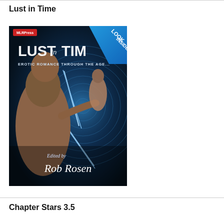Lust in Time
[Figure (photo): Book cover of 'Lust in Time: Erotic Romance Through the Ages', edited by Rob Rosen, published by MLR Press. Features two male figures against a dark blue swirling clock/time background with lightning effects. A 'Look Inside' banner appears in the top right corner.]
Chapter Stars 3.5